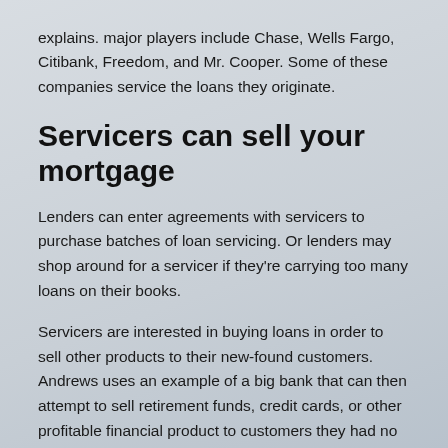explains. major players include Chase, Wells Fargo, Citibank, Freedom, and Mr. Cooper. Some of these companies service the loans they originate.
Servicers can sell your mortgage
Lenders can enter agreements with servicers to purchase batches of loan servicing. Or lenders may shop around for a servicer if they're carrying too many loans on their books.
Servicers are interested in buying loans in order to sell other products to their new-found customers. Andrews uses an example of a big bank that can then attempt to sell retirement funds, credit cards, or other profitable financial product to customers they had no prior relationship with.
Many lenders originate loans, and then proceed to sell off the servicing or the loan itself. If the servicer changes, the customer